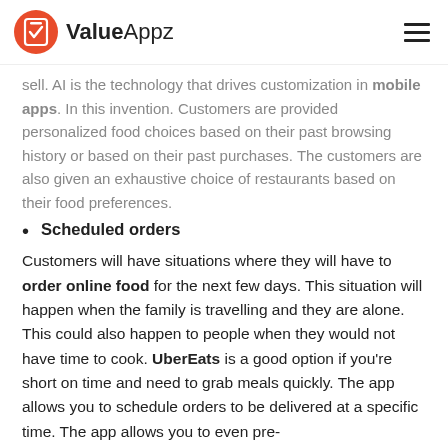ValueAppz
sell. AI is the technology that drives customization in mobile apps. In this invention. Customers are provided personalized food choices based on their past browsing history or based on their past purchases. The customers are also given an exhaustive choice of restaurants based on their food preferences.
Scheduled orders
Customers will have situations where they will have to order online food for the next few days. This situation will happen when the family is travelling and they are alone. This could also happen to people when they would not have time to cook. UberEats is a good option if you're short on time and need to grab meals quickly. The app allows you to schedule orders to be delivered at a specific time. The app allows you to even pre-